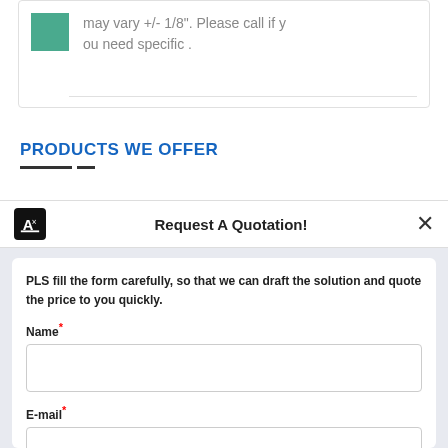[Figure (illustration): Green square thumbnail image]
may vary +/- 1/8". Please call if you need specific .
PRODUCTS WE OFFER
Request A Quotation!
PLS fill the form carefully, so that we can draft the solution and quote the price to you quickly.
Name*
E-mail*